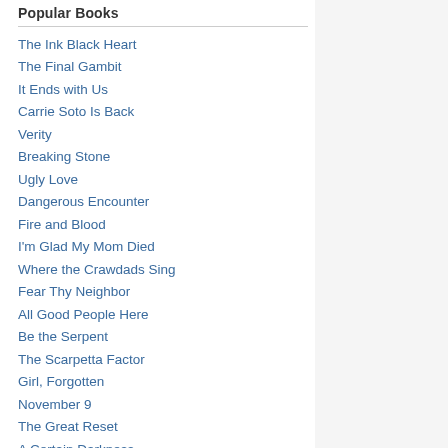Popular Books
The Ink Black Heart
The Final Gambit
It Ends with Us
Carrie Soto Is Back
Verity
Breaking Stone
Ugly Love
Dangerous Encounter
Fire and Blood
I'm Glad My Mom Died
Where the Crawdads Sing
Fear Thy Neighbor
All Good People Here
Be the Serpent
The Scarpetta Factor
Girl, Forgotten
November 9
The Great Reset
A Certain Darkness